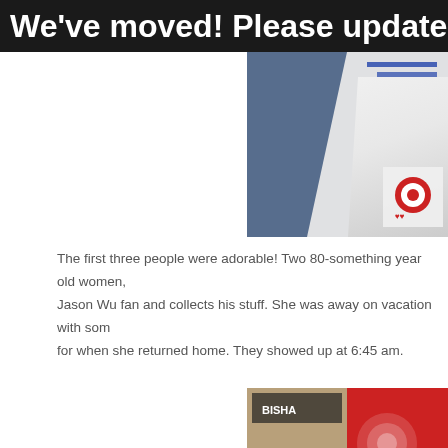We've moved! Please update you
[Figure (photo): Close-up photo of a person in a blue hoodie/fleece jacket with what appears to be Target branded packaging or bag visible on the right side]
The first three people were adorable! Two 80-something year old women, Jason Wu fan and collects his stuff. She was away on vacation with som for when she returned home. They showed up at 6:45 am.
[Figure (photo): Aerial/elevated view of an urban street scene showing the Bisha building and a large red Target logo billboard with a bullseye and heart symbol, crowd of people visible at street level]